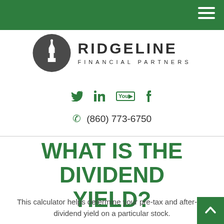Ridgeline Financial Partners — navigation header bar
[Figure (logo): Ridgeline Financial Partners logo: dark circle with building/church spire icon on left, text RIDGELINE in bold dark letters and FINANCIAL PARTNERS in spaced smaller letters on right]
Social media icons: Twitter, LinkedIn, YouTube, Facebook
(860) 773-6750
WHAT IS THE DIVIDEND YIELD?
This calculator helps determine your pre-tax and after-tax dividend yield on a particular stock.